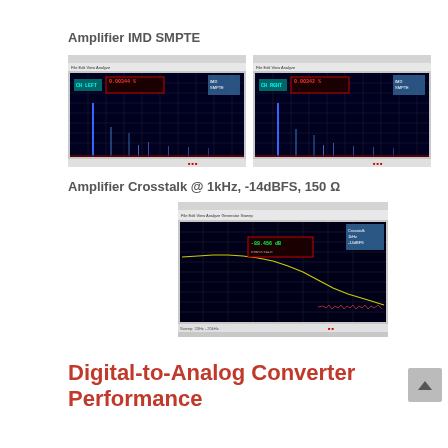Amplifier IMD SMPTE
[Figure (screenshot): Spectrum analyzer screenshot showing Amplifier IMD SMPTE measurement, left channel, reading 0.00344%]
[Figure (screenshot): Spectrum analyzer screenshot showing Amplifier IMD SMPTE measurement, right channel, reading 0.00342%]
Amplifier Crosstalk @ 1kHz, -14dBFS, 150 Ω
[Figure (screenshot): Spectrum analyzer screenshot showing Amplifier Crosstalk measurement at 1kHz, -14dBFS, 150 ohm load, reading -88.456 dB]
Digital-to-Analog Converter Performance